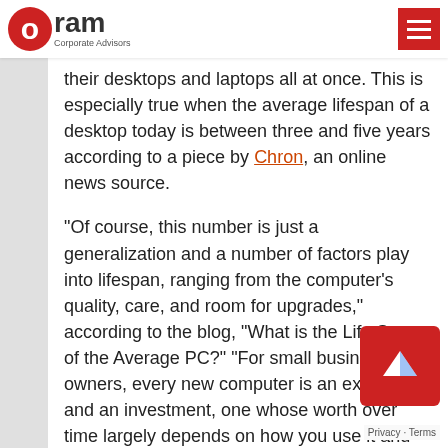Oram Corporate Advisors
their desktops and laptops all at once. This is especially true when the average lifespan of a desktop today is between three and five years according to a piece by Chron, an online news source.
“Of course, this number is just a generalization and a number of factors play into lifespan, ranging from the computer’s quality, care, and room for upgrades,” according to the blog, “What is the Life Span of the Average PC?” “For small business owners, every new computer is an expense and an investment, one whose worth over time largely depends on how you use it and care for it.”
Laptops are also a typical expense for most